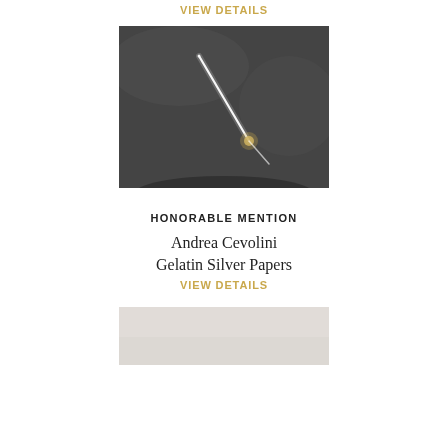VIEW DETAILS
[Figure (photo): Night sky photograph showing a bright diagonal streak of light (possibly a meteor or aircraft trail) against a dark grey sky, with a small bright cluster at the lower right end of the streak.]
HONORABLE MENTION
Andrea Cevolini
Gelatin Silver Papers
VIEW DETAILS
[Figure (photo): Partial view of a light grey/white artwork or paper, cropped at the bottom of the page.]